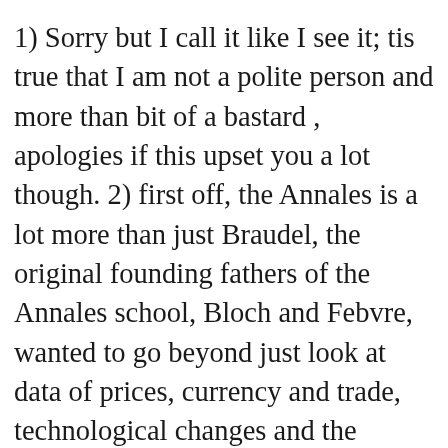1) Sorry but I call it like I see it; tis true that I am not a polite person and more than bit of a bastard , apologies if this upset you a lot though. 2) first off, the Annales is a lot more than just Braudel, the original founding fathers of the Annales school, Bloch and Febvre, wanted to go beyond just look at data of prices, currency and trade, technological changes and the structure of agrarian society but also to explore values, sensibilities and feelings. This was what is sometimes termed the 'spirit of the Annales' at the time. Secondly, even referring to Braudel to support your arguement, you are